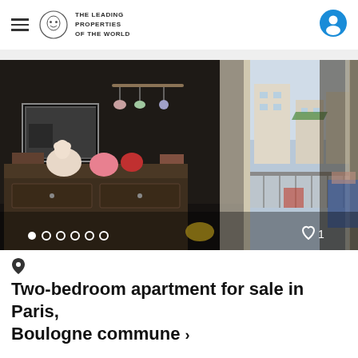THE LEADING PROPERTIES OF THE WORLD
[Figure (photo): Interior photo of a bedroom/children's room with a dresser, toys and stuffed animals, a sliding glass door open to a balcony showing the exterior of a Parisian building, and a wooden wardrobe on the right. Navigation dots at bottom left and heart/like icon at bottom right.]
📍
Two-bedroom apartment for sale in Paris, Boulogne commune »